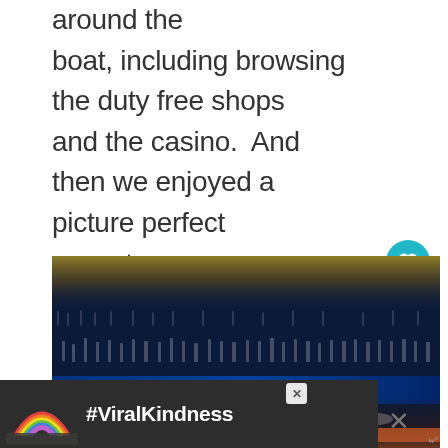around the boat, including browsing the duty free shops and the casino.  And then we enjoyed a picture perfect sunset.
[Figure (photo): Interior of a cruise ship dining room/atrium with blue lighting, crowds of people, and a warm golden ceiling structure visible above.]
[Figure (infographic): Advertisement banner with dark background showing a rainbow graphic and the hashtag #ViralKindness in white text.]